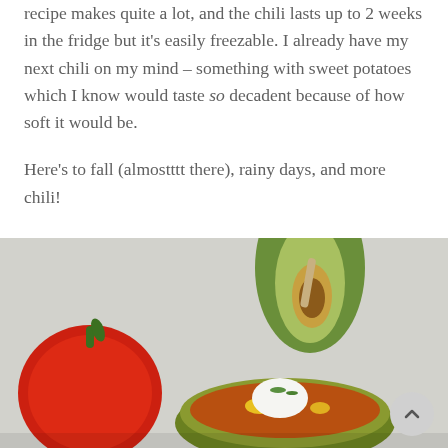recipe makes quite a lot, and the chili lasts up to 2 weeks in the fridge but it's easily freezable. I already have my next chili on my mind – something with sweet potatoes which I know would taste so decadent because of how soft it would be.
Here's to fall (almostttt there), rainy days, and more chili!
[Figure (photo): Close-up photo of a bowl of chili topped with sour cream and garnish, with a red bell pepper and half an avocado visible in the background, on a light gray surface.]